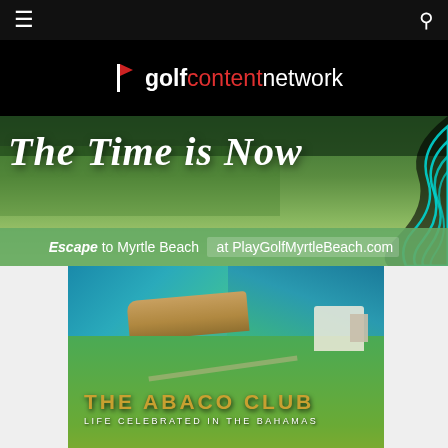golf content network
[Figure (illustration): Golf Content Network logo with red flag icon and text: golf in white bold, content in red, network in white]
[Figure (infographic): Banner advertisement: aerial golf course photo with cyan swirl design on right. Large italic script text reads 'The Time is Now'. Green banner below reads 'Escape to Myrtle Beach at PlayGolfMyrtleBeach.com']
[Figure (photo): Aerial photo of The Abaco Club coastline in the Bahamas showing turquoise water, cliffs, and green fairways. Gold text overlay reads 'THE ABACO CLUB' and white text reads 'LIFE CELEBRATED IN THE BAHAMAS']